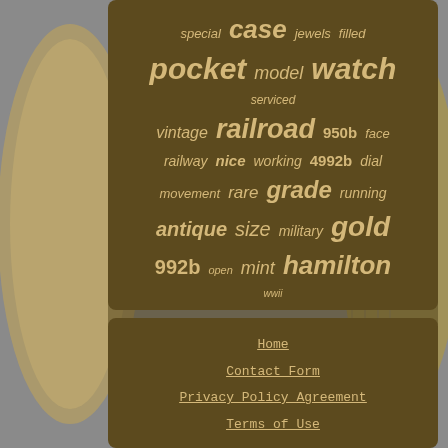[Figure (photo): Background photo of a gold pocket watch with visible mechanical details and ridged case edge]
special case jewels filled pocket serviced model watch vintage railroad 950b face railway nice working 4992b dial movement rare grade running antique size military gold 992b open mint hamilton wwii
Home
Contact Form
Privacy Policy Agreement
Terms of Use